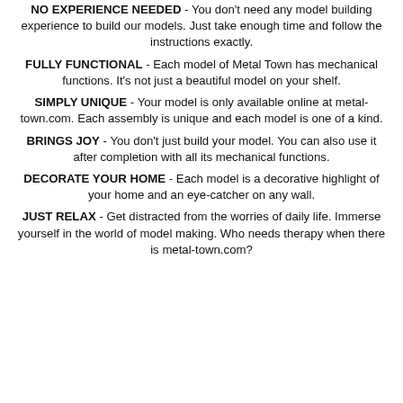NO EXPERIENCE NEEDED - You don't need any model building experience to build our models. Just take enough time and follow the instructions exactly.
FULLY FUNCTIONAL - Each model of Metal Town has mechanical functions. It's not just a beautiful model on your shelf.
SIMPLY UNIQUE - Your model is only available online at metal-town.com. Each assembly is unique and each model is one of a kind.
BRINGS JOY - You don't just build your model. You can also use it after completion with all its mechanical functions.
DECORATE YOUR HOME - Each model is a decorative highlight of your home and an eye-catcher on any wall.
JUST RELAX - Get distracted from the worries of daily life. Immerse yourself in the world of model making. Who needs therapy when there is metal-town.com?